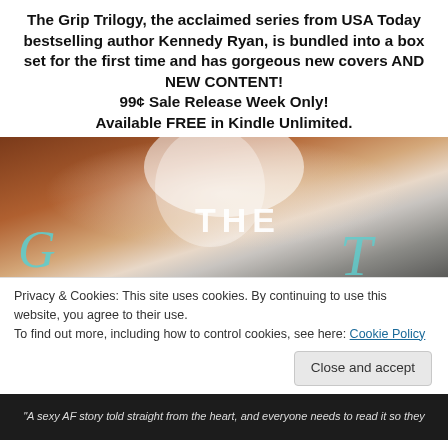The Grip Trilogy, the acclaimed series from USA Today bestselling author Kennedy Ryan, is bundled into a box set for the first time and has gorgeous new covers AND NEW CONTENT!
99¢ Sale Release Week Only!
Available FREE in Kindle Unlimited.
[Figure (photo): Book cover image showing two people close together with 'THE' text visible in white and teal script lettering overlaid on a warm-toned photograph]
Privacy & Cookies: This site uses cookies. By continuing to use this website, you agree to their use.
To find out more, including how to control cookies, see here: Cookie Policy
Close and accept
"A sexy AF story told straight from the heart, and everyone needs to read it so they